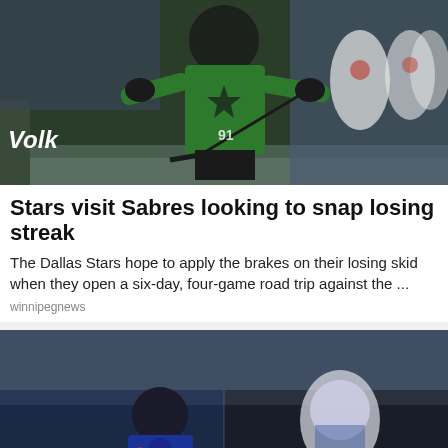[Figure (photo): Ice hockey game photo showing a Dallas Stars player in green jersey (#91) celebrating or gesturing on the ice, with Montreal Canadiens players in white jerseys visible in the background. 'Volk' advertisement text visible in lower left.]
Stars visit Sabres looking to snap losing streak
The Dallas Stars hope to apply the brakes on their losing skid when they open a six-day, four-game road trip against the ...
winnipegnews
[Figure (photo): Ice hockey game photo showing a New York Rangers player in blue jersey (#24) skating, with a Toronto Maple Leafs goalie visible on the right side. CDW and other arena board advertisements visible at the bottom.]